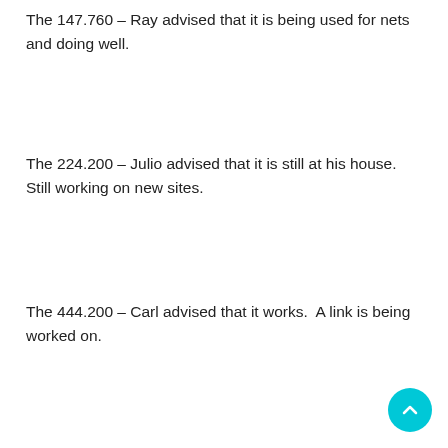The 147.760 – Ray advised that it is being used for nets and doing well.
The 224.200 – Julio advised that it is still at his house.  Still working on new sites.
The 444.200 – Carl advised that it works.  A link is being worked on.